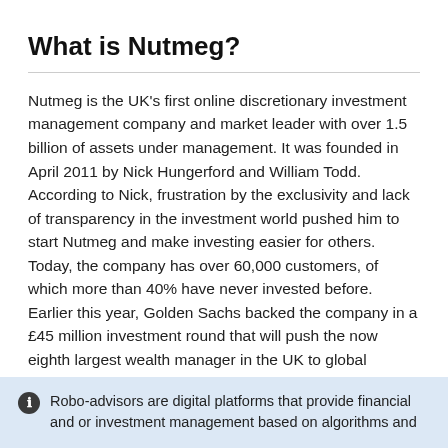What is Nutmeg?
Nutmeg is the UK's first online discretionary investment management company and market leader with over 1.5 billion of assets under management. It was founded in April 2011 by Nick Hungerford and William Todd. According to Nick, frustration by the exclusivity and lack of transparency in the investment world pushed him to start Nutmeg and make investing easier for others. Today, the company has over 60,000 customers, of which more than 40% have never invested before. Earlier this year, Golden Sachs backed the company in a £45 million investment round that will push the now eighth largest wealth manager in the UK to global markets.
Robo-advisors are digital platforms that provide financial and or investment management based on algorithms and